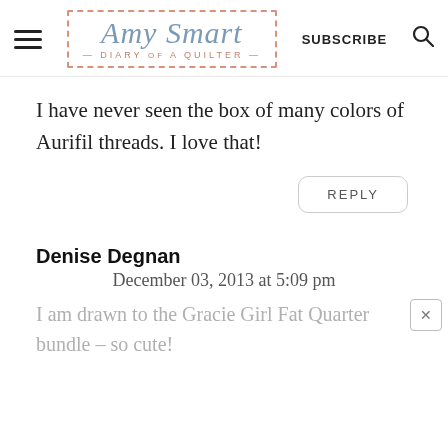Amy Smart — DIARY of a QUILTER — SUBSCRIBE
I have never seen the box of many colors of Aurifil threads. I love that!
REPLY
Denise Degnan
December 03, 2013 at 5:09 pm
I am drawn to the Gracie Girl Fat Quarter bundle – so cute!